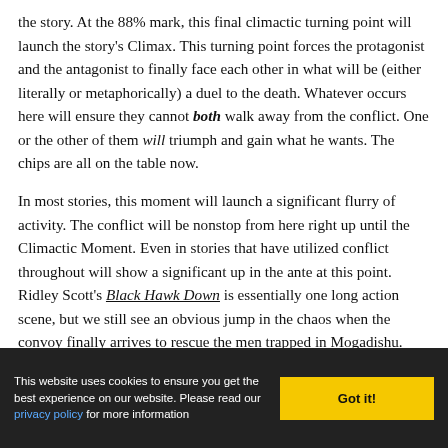the story. At the 88% mark, this final climactic turning point will launch the story's Climax. This turning point forces the protagonist and the antagonist to finally face each other in what will be (either literally or metaphorically) a duel to the death. Whatever occurs here will ensure they cannot both walk away from the conflict. One or the other of them will triumph and gain what he wants. The chips are all on the table now.
In most stories, this moment will launch a significant flurry of activity. The conflict will be nonstop from here right up until the Climactic Moment. Even in stories that have utilized conflict throughout will show a significant up in the ante at this point. Ridley Scott's Black Hawk Down is essentially one long action scene, but we still see an obvious jump in the chaos when the convoy finally arrives to rescue the men trapped in Mogadishu.
This website uses cookies to ensure you get the best experience on our website. Please read our privacy policy for more information